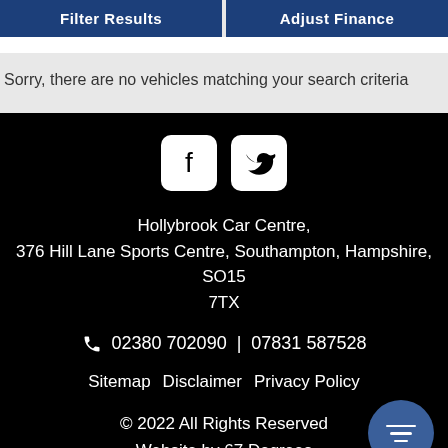Filter Results | Adjust Finance
Sorry, there are no vehicles matching your search criteria
[Figure (logo): Facebook and Twitter social media icons in white on white rounded square backgrounds]
Hollybrook Car Centre,
376 Hill Lane Sports Centre, Southampton, Hampshire, SO15 7TX
02380 702090 | 07831 587528
Sitemap   Disclaimer   Privacy Policy
© 2022 All Rights Reserved
Website by 67 Degrees